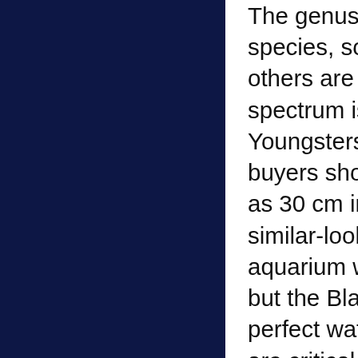The genus Labeo presents a mixed bag of fairly large species, some of which are reasonably easy-going while others are notoriously grumpy. At the meaner end of the spectrum is the Black Shark, Labeo chrysophekadion. Youngsters around the 5 cm mark are frequently sold, but buyers should be aware that this species can get to as much as 30 cm in length and becomes increasingly intolerant of similar-looking fish the older it gets. Obviously a very big aquarium will be needed for this species, at least 375 litres, but the Black Shark is also notoriously sensitive to less-than-perfect water quality, so filtration and regular water changes are critical.
Labeo boga is known as the Violet Gilled Shark because of its peculiar appearance. It is basically colourless except for a vague